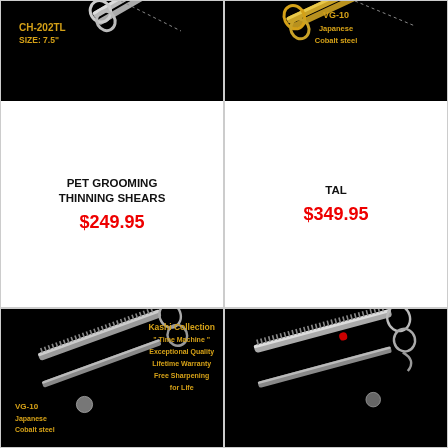[Figure (photo): Pet grooming thinning shears CH-202TL, size 7.5 inch, silver scissors on black background]
PET GROOMING THINNING SHEARS
$249.95
[Figure (photo): Thinning shears VG-10 Japanese Cobalt steel, gold scissors on black background]
TAL
$349.95
[Figure (photo): Kashi Collection Time Machine thinning shears, VG-10 Japanese Cobalt steel, silver, on black background]
[Figure (photo): Silver thinning shears with red dot on black background]